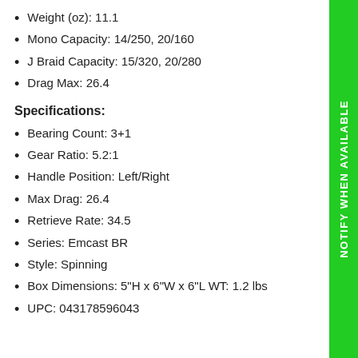Weight (oz): 11.1
Mono Capacity: 14/250, 20/160
J Braid Capacity: 15/320, 20/280
Drag Max: 26.4
Specifications:
Bearing Count: 3+1
Gear Ratio: 5.2:1
Handle Position: Left/Right
Max Drag: 26.4
Retrieve Rate: 34.5
Series: Emcast BR
Style: Spinning
Box Dimensions: 5"H x 6"W x 6"L WT: 1.2 lbs
UPC: 043178596043